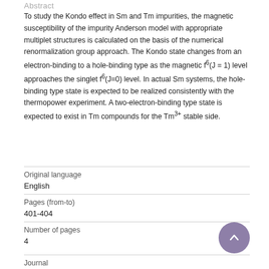Abstract
To study the Kondo effect in Sm and Tm impurities, the magnetic susceptibility of the impurity Anderson model with appropriate multiplet structures is calculated on the basis of the numerical renormalization group approach. The Kondo state changes from an electron-binding to a hole-binding type as the magnetic f⁶(J = 1) level approaches the singlet f⁶(J=0) level. In actual Sm systems, the hole-binding type state is expected to be realized consistently with the thermopower experiment. A two-electron-binding type state is expected to exist in Tm compounds for the Tm³⁺ stable side.
| Field | Value |
| --- | --- |
| Original language | English |
| Pages (from-to) | 401-404 |
| Number of pages | 4 |
| Journal |  |